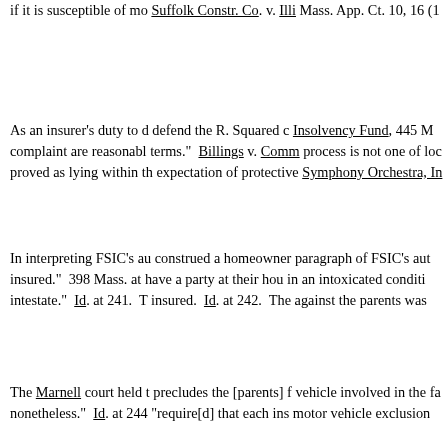if it is susceptible of mo Suffolk Constr. Co. v. Illi Mass. App. Ct. 10, 16 (1
As an insurer's duty to d defend the R. Squared c Insolvency Fund, 445 M complaint are reasonabl terms."  Billings v. Comm process is not one of loc proved as lying within th expectation of protective Symphony Orchestra, In
In interpreting FSIC's au construed a homeowner paragraph of FSIC's aut insured."  398 Mass. at have a party at their hou in an intoxicated conditi intestate."  Id. at 241. T insured.  Id. at 242. The against the parents was
The Marnell court held t precludes the [parents] f vehicle involved in the fa nonetheless."  Id. at 244 "require[d] that each ins motor vehicle exclusion